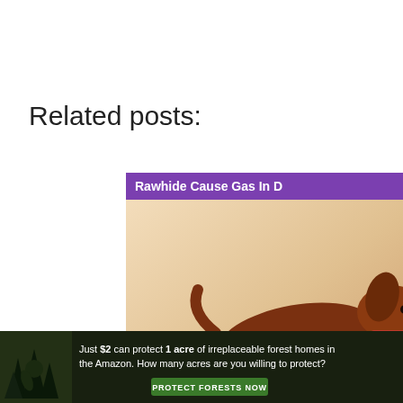Related posts:
[Figure (screenshot): Card image for 'Can Rawhide Cause Gas In Dogs' showing a brown dachshund with purple top banner reading 'Rawhide Cause Gas In D' and red bottom badge 'ce | Reasons + Tips']
[Figure (screenshot): Card image for 'Can You Use Whitening Shampoo On Black/Multi-Color Dogs' showing a black dachshund with grooming bottles, purple top banner reading 'You Use Whitening Shampoo Black/Multi-Color Dogs?' and purple bottom badge 'os & 4 Cons']
Can Rawhide Cause Gas In Dogs? [Vet Advice | Reasons
Can You Use Whitening Shampoo On Black/Multi-
Get a credible source for this
[Figure (screenshot): Ad banner at bottom: dark green forest background with text 'Just $2 can protect 1 acre of irreplaceable forest homes in the Amazon. How many acres are you willing to protect?' and green 'PROTECT FORESTS NOW' button]